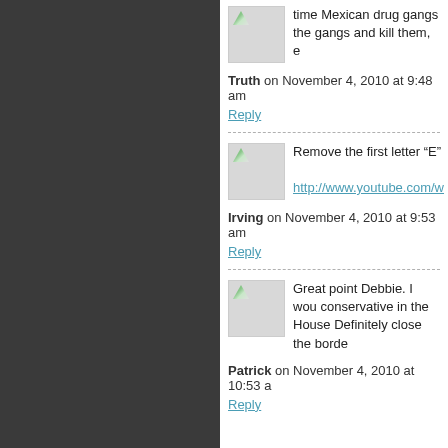time Mexican drug gangs the gangs and kill them, e
Truth on November 4, 2010 at 9:48 am
Reply
Remove the first letter "E"
http://www.youtube.com/w
Irving on November 4, 2010 at 9:53 am
Reply
Great point Debbie. I would conservative in the House Definitely close the border
Patrick on November 4, 2010 at 10:53 a
Reply